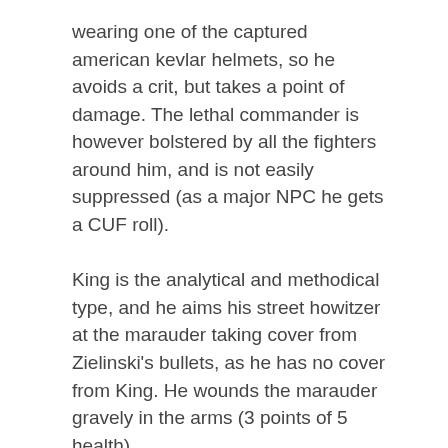wearing one of the captured american kevlar helmets, so he avoids a crit, but takes a point of damage. The lethal commander is however bolstered by all the fighters around him, and is not easily suppressed (as a major NPC he gets a CUF roll).
King is the analytical and methodical type, and he aims his street howitzer at the marauder taking cover from Zielinski's bullets, as he has no cover from King. He wounds the marauder gravely in the arms (3 points of 5 health).
Lee rushes forward behind the next piece of machinery, and fires a quick shot at the wounded marauder to his right. He slides towards the machinery on his knees and bumps his wounded arms on the machinery tearing open the wounds (1...